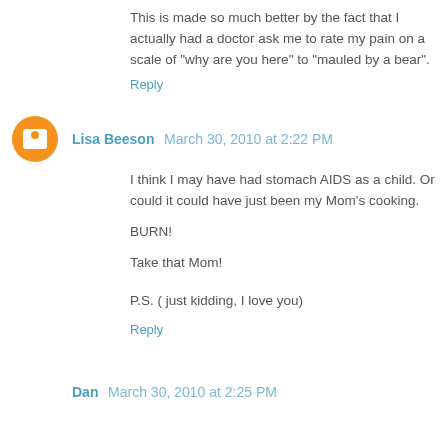This is made so much better by the fact that I actually had a doctor ask me to rate my pain on a scale of "why are you here" to "mauled by a bear".
Reply
Lisa Beeson  March 30, 2010 at 2:22 PM
I think I may have had stomach AIDS as a child. Or could it could have just been my Mom's cooking.

BURN!

Take that Mom!


P.S. ( just kidding, I love you)
Reply
Dan  March 30, 2010 at 2:25 PM